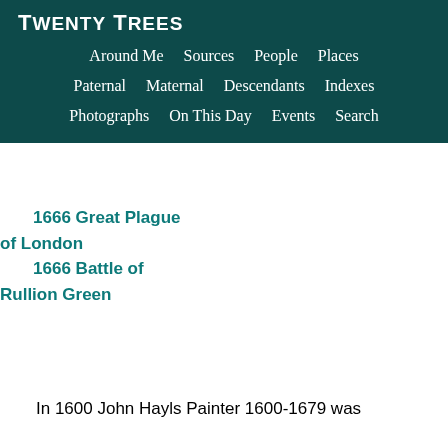Twenty Trees
Around Me  Sources  People  Places  Paternal  Maternal  Descendants  Indexes  Photographs  On This Day  Events  Search
1666 Great Plague of London
1666 Battle of Rullion Green
In 1600 John Hayls Painter 1600-1679 was